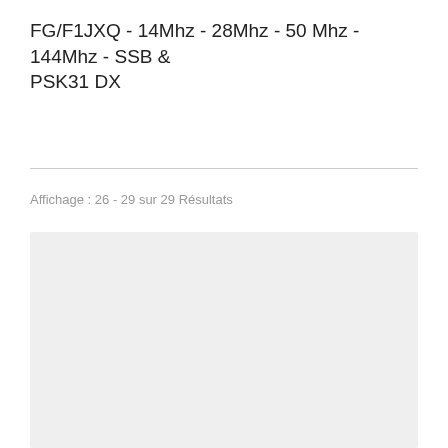FG/F1JXQ - 14Mhz - 28Mhz - 50 Mhz - 144Mhz - SSB & PSK31 DX
Affichage : 26 - 29 sur 29 Résultats
[Figure (other): Gray placeholder/content box]